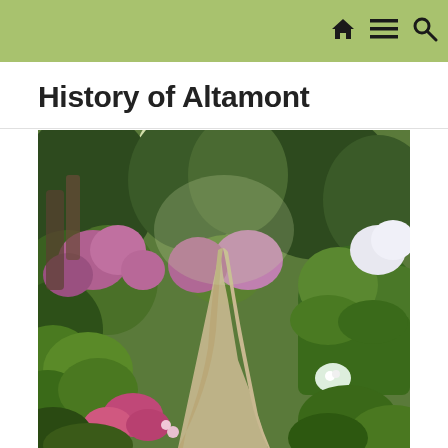Navigation bar with home, menu, and search icons
History of Altamont
[Figure (photo): A winding garden path through lush green ferns, shrubs, and flowering plants including pink and white flowers, surrounded by dense woodland foliage at Altamont Gardens.]